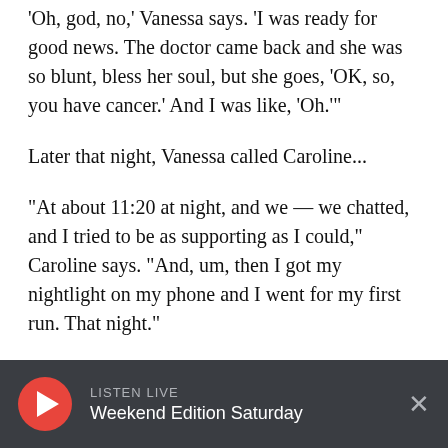'Oh, god, no,' Vanessa says. 'I was ready for good news. The doctor came back and she was so blunt, bless her soul, but she goes, 'OK, so, you have cancer.' And I was like, 'Oh.''
Later that night, Vanessa called Caroline...
"At about 11:20 at night, and we — we chatted, and I tried to be as supporting as I could," Caroline says. "And, um, then I got my nightlight on my phone and I went for my first run. That night."
"It felt like the beginning for me all over. Just ... it
LISTEN LIVE Weekend Edition Saturday